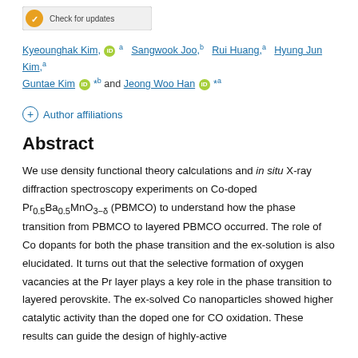[Figure (logo): Check for updates badge/button at top of page]
Kyeounghak Kim, [ORCID] a  Sangwook Joo, *b  Rui Huang, a  Hyung Jun Kim, a  Guntae Kim [ORCID] *b and  Jeong Woo Han [ORCID] *a
Author affiliations
Abstract
We use density functional theory calculations and in situ X-ray diffraction spectroscopy experiments on Co-doped Pr0.5Ba0.5MnO3−δ (PBMCO) to understand how the phase transition from PBMCO to layered PBMCO occurred. The role of Co dopants for both the phase transition and the ex-solution is also elucidated. It turns out that the selective formation of oxygen vacancies at the Pr layer plays a key role in the phase transition to layered perovskite. The ex-solved Co nanoparticles showed higher catalytic activity than the doped one for CO oxidation. These results can guide the design of highly-active